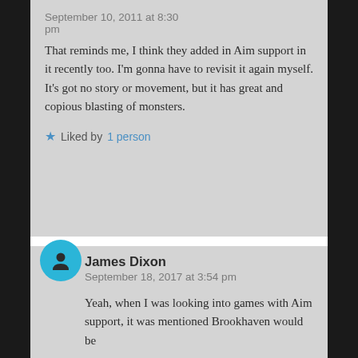September 10, 2011 at 8:30 pm (truncated at top)
That reminds me, I think they added in Aim support in it recently too. I’m gonna have to revisit it again myself. It’s got no story or movement, but it has great and copious blasting of monsters.
★ Liked by 1 person
James Dixon
September 18, 2017 at 3:54 pm
Yeah, when I was looking into games with Aim support, it was mentioned Brookhaven would be